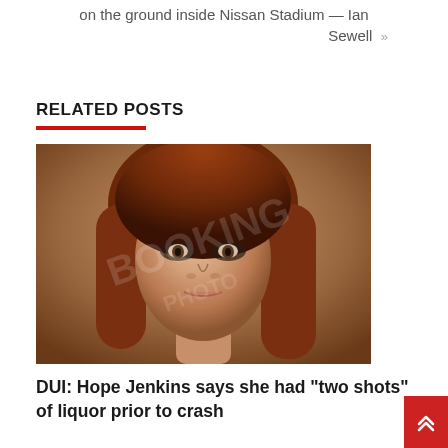on the ground inside Nissan Stadium — Ian Sewell »
RELATED POSTS
[Figure (photo): Mugshot of a young woman with long reddish-brown hair and dark eye makeup, appearing to be a police booking photo with watermark overlay]
DUI: Hope Jenkins says she had “two shots” of liquor prior to crash